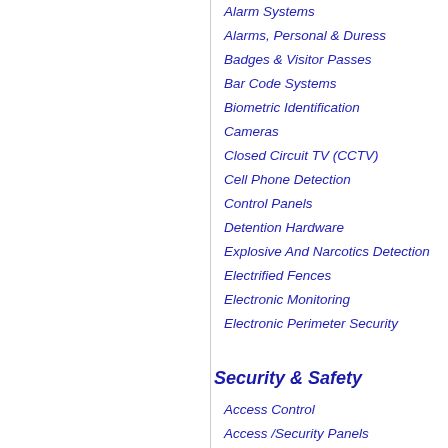Alarm Systems
Alarms, Personal & Duress
Badges & Visitor Passes
Bar Code Systems
Biometric Identification
Cameras
Closed Circuit TV (CCTV)
Cell Phone Detection
Control Panels
Detention Hardware
Explosive And Narcotics Detection
Electrified Fences
Electronic Monitoring
Electronic Perimeter Security
Fencing
Fingerprinting
Fire Equipment
Fire Protection
Gates & Gates
GPS and GIS
Identification
Infrared
Intrusion Detection
Keys/ Keys Control
Lie Detectors
Life Safety
Metal Detectors
Motion Detection
Security & Safety
Access Control
Access /Security Panels
Emergency N
Emergency R